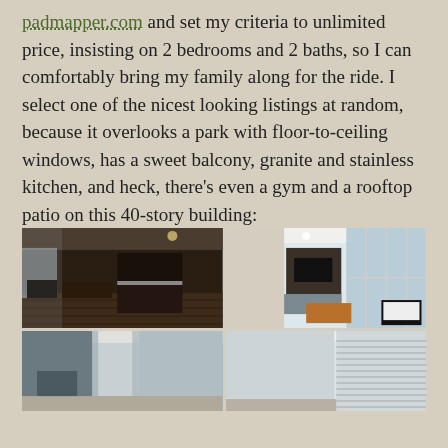padmapper.com and set my criteria to unlimited price, insisting on 2 bedrooms and 2 baths, so I can comfortably bring my family along for the ride. I select one of the nicest looking listings at random, because it overlooks a park with floor-to-ceiling windows, has a sweet balcony, granite and stainless kitchen, and heck, there's even a gym and a rooftop patio on this 40-story building:
[Figure (photo): Grid of apartment interior photos showing kitchen, living area with floor-to-ceiling windows, and two additional rooms/areas of the apartment listing.]